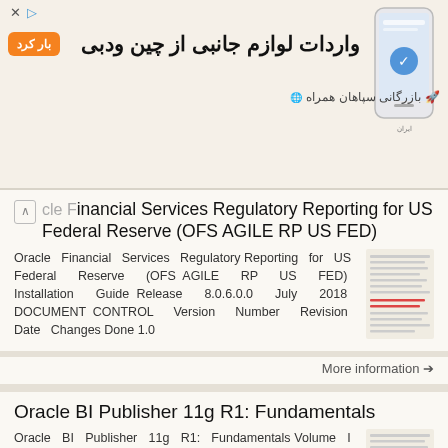[Figure (other): Advertisement banner in Persian/Farsi for importing goods from China and Dubai, with orange call-to-action button and smartphone illustration]
Oracle Financial Services Regulatory Reporting for US Federal Reserve (OFS AGILE RP US FED)
Oracle Financial Services Regulatory Reporting for US Federal Reserve (OFS AGILE RP US FED) Installation Guide Release 8.0.6.0.0 July 2018 DOCUMENT CONTROL Version Number Revision Date Changes Done 1.0
More information →
Oracle BI Publisher 11g R1: Fundamentals
Oracle BI Publisher 11g R1: Fundamentals Volume I Student Guide D68420GC10 Edition 1.0 June 2011 D73394 Authors Lea...